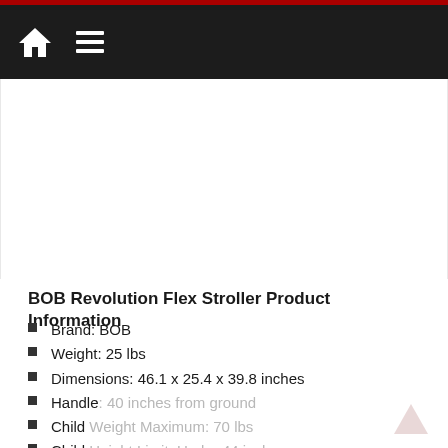BOB Revolution Flex Stroller Product Information
Brand: BOB
Weight: 25 lbs
Dimensions: 46.1 x 25.4 x 39.8 inches
Handle: 40 inches from ground
Child Weight Maximum: 70 lbs
Child Height Limit: Under 44 inches